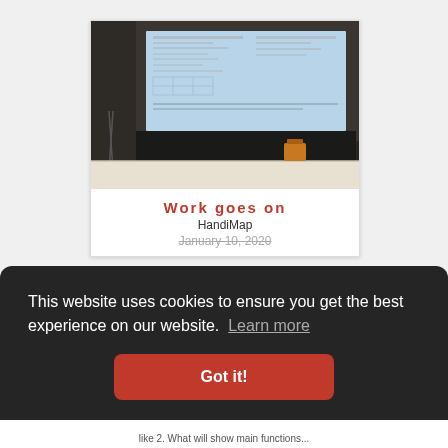[Figure (photo): Classroom photo showing a lecture hall with a projected presentation slide on a large screen at the front. Dark chalkboard below the screen, rows of desks visible, an orange chair in the background.]
Work goes on
HandiMap
January 10, 2020
This website uses cookies to ensure you get the best experience on our website. Learn more
Got it!
like 2. What will show main functions...